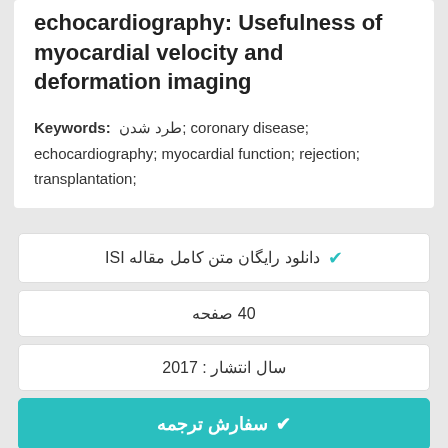echocardiography: Usefulness of myocardial velocity and deformation imaging
Keywords: طرد شدن; coronary disease; echocardiography; myocardial function; rejection; transplantation;
✔ دانلود رایگان متن کامل مقاله ISI
40 صفحه
سال انتشار : 2017
✔ سفارش ترجمه